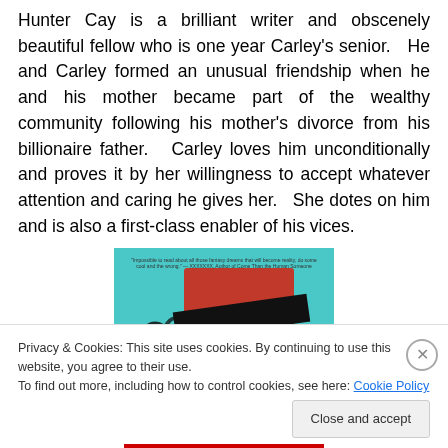Hunter Cay is a brilliant writer and obscenely beautiful fellow who is one year Carley's senior.   He and Carley formed an unusual friendship when he and his mother became part of the wealthy community following his mother's divorce from his billionaire father.   Carley loves him unconditionally and proves it by her willingness to accept whatever attention and caring he gives her.   She dotes on him and is also a first-class enabler of his vices.
[Figure (photo): Book cover showing a red hardcover book with a black band across it, against a teal background with text. The title 'How' is partially visible on the spine.]
Privacy & Cookies: This site uses cookies. By continuing to use this website, you agree to their use.
To find out more, including how to control cookies, see here: Cookie Policy